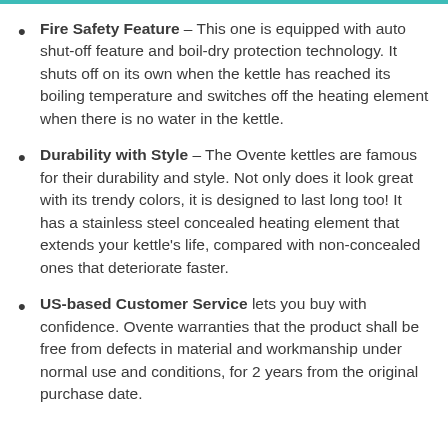Fire Safety Feature – This one is equipped with auto shut-off feature and boil-dry protection technology. It shuts off on its own when the kettle has reached its boiling temperature and switches off the heating element when there is no water in the kettle.
Durability with Style – The Ovente kettles are famous for their durability and style. Not only does it look great with its trendy colors, it is designed to last long too! It has a stainless steel concealed heating element that extends your kettle's life, compared with non-concealed ones that deteriorate faster.
US-based Customer Service lets you buy with confidence. Ovente warranties that the product shall be free from defects in material and workmanship under normal use and conditions, for 2 years from the original purchase date.